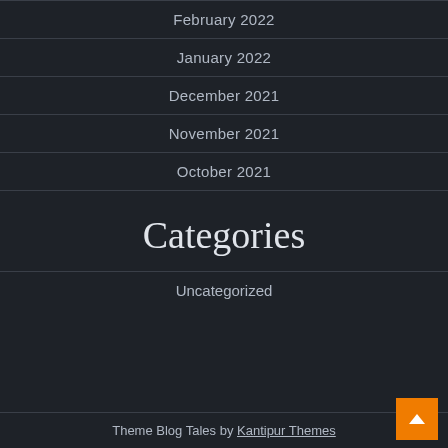February 2022
January 2022
December 2021
November 2021
October 2021
Categories
Uncategorized
Theme Blog Tales by Kantipur Themes